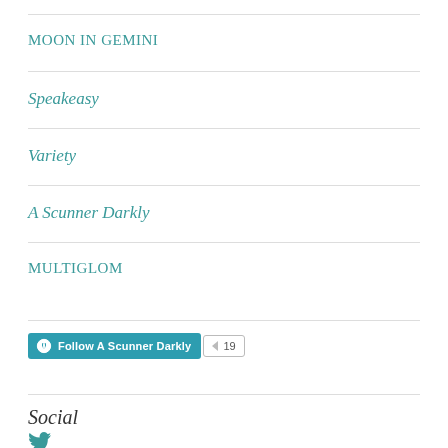MOON IN GEMINI
Speakeasy
Variety
A Scunner Darkly
MULTIGLOM
[Figure (other): WordPress Follow button for 'A Scunner Darkly' with follower count of 19]
Social
[Figure (other): Twitter/social media icon in teal color]